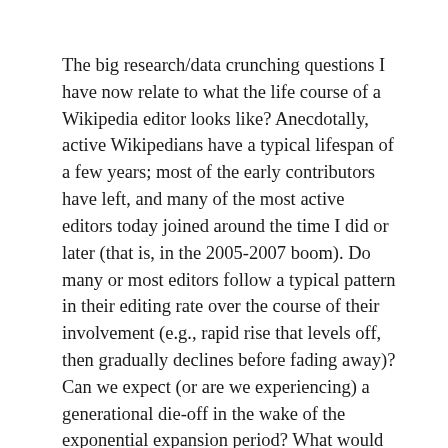The big research/data crunching questions I have now relate to what the life course of a Wikipedia editor looks like? Anecdotally, active Wikipedians have a typical lifespan of a few years; most of the early contributors have left, and many of the most active editors today joined around the time I did or later (that is, in the 2005-2007 boom). Do many or most editors follow a typical pattern in their editing rate over the course of their involvement (e.g., rapid rise that levels off, then gradually declines before fading away)? Can we expect (or are we experiencing) a generational die-off in the wake of the exponential expansion period? What would a histogram of recent edits sorted by when editors joined look like?
Tougher questions that probably can't be answered